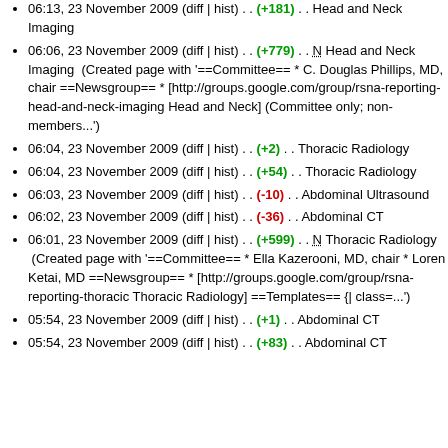06:13, 23 November 2009 (diff | hist) . . (+181) . . Head and Neck Imaging
06:06, 23 November 2009 (diff | hist) . . (+779) . . N Head and Neck Imaging  (Created page with '==Committee== * C. Douglas Phillips, MD, chair ==Newsgroup== * [http://groups.google.com/group/rsna-reporting-head-and-neck-imaging Head and Neck] (Committee only; non-members...')
06:04, 23 November 2009 (diff | hist) . . (+2) . . Thoracic Radiology
06:04, 23 November 2009 (diff | hist) . . (+54) . . Thoracic Radiology
06:03, 23 November 2009 (diff | hist) . . (-10) . . Abdominal Ultrasound
06:02, 23 November 2009 (diff | hist) . . (-36) . . Abdominal CT
06:01, 23 November 2009 (diff | hist) . . (+599) . . N Thoracic Radiology  (Created page with '==Committee== * Ella Kazerooni, MD, chair * Loren Ketai, MD ==Newsgroup== * [http://groups.google.com/group/rsna-reporting-thoracic Thoracic Radiology] ==Templates== {| class=...')
05:54, 23 November 2009 (diff | hist) . . (+1) . . Abdominal CT
05:54, 23 November 2009 (diff | hist) . . (+83) . . Abdominal CT